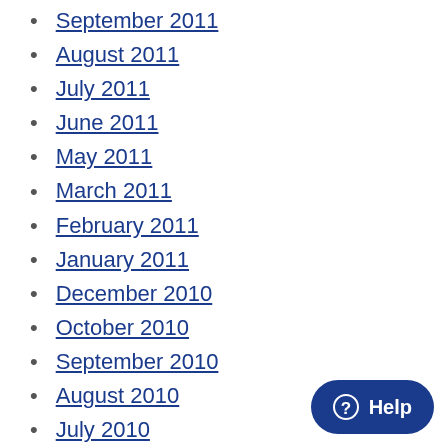September 2011
August 2011
July 2011
June 2011
May 2011
March 2011
February 2011
January 2011
December 2010
October 2010
September 2010
August 2010
July 2010
June 2010
April 2010
February 2010
January 2010